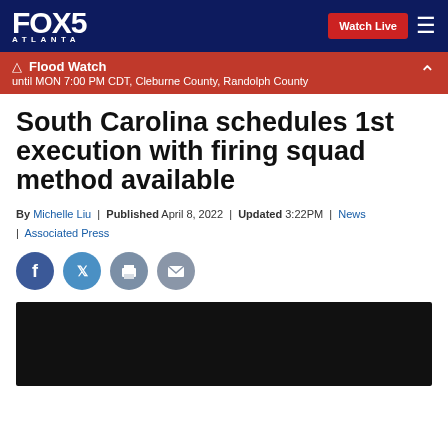FOX 5 ATLANTA | Watch Live
Flood Watch until MON 7:00 PM CDT, Cleburne County, Randolph County
South Carolina schedules 1st execution with firing squad method available
By Michelle Liu | Published April 8, 2022 | Updated 3:22PM | News | Associated Press
[Figure (other): Social share icons: Facebook, Twitter, Print, Email]
[Figure (other): Black video player placeholder]